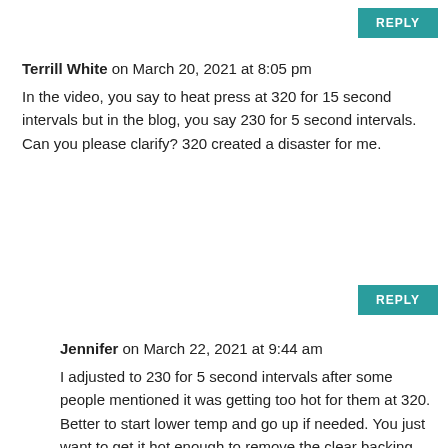REPLY
Terrill White on March 20, 2021 at 8:05 pm
In the video, you say to heat press at 320 for 15 second intervals but in the blog, you say 230 for 5 second intervals. Can you please clarify? 320 created a disaster for me.
REPLY
Jennifer on March 22, 2021 at 9:44 am
I adjusted to 230 for 5 second intervals after some people mentioned it was getting too hot for them at 320. Better to start lower temp and go up if needed. You just want to get it hot enough to remove the clear backing from your HTV.